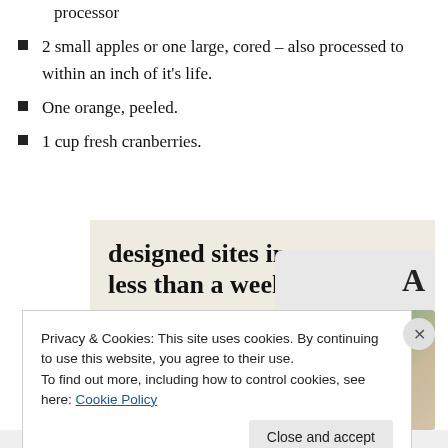processor
2 small apples or one large, cored – also processed to within an inch of it's life.
One orange, peeled.
1 cup fresh cranberries.
[Figure (illustration): Advertisement banner with beige background showing 'designed sites in less than a week' text with a green 'Explore options' button and UI mockup screenshots on the right side]
Privacy & Cookies: This site uses cookies. By continuing to use this website, you agree to their use.
To find out more, including how to control cookies, see here: Cookie Policy
Close and accept